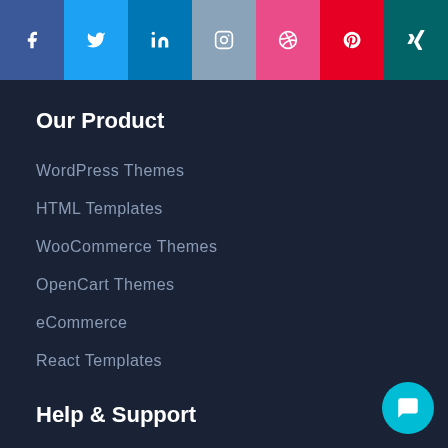[Figure (other): Social media icon buttons row: Facebook (blue), Twitter (cyan), LinkedIn (blue), Instagram (gray-blue), Dribbble (pink), Pinterest (red), Xing (teal)]
Our Product
WordPress Themes
HTML Templates
WooCommerce Themes
OpenCart Themes
eCommerce
React Templates
Help & Support
Blog